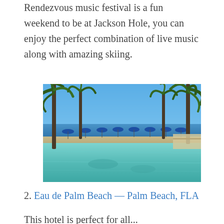Rendezvous music festival is a fun weekend to be at Jackson Hole, you can enjoy the perfect combination of live music along with amazing skiing.
[Figure (photo): Outdoor swimming pool with tall palm trees in foreground, blue ocean horizon in background, rows of blue beach umbrellas along the pool edge, sunny day with blue sky]
2. Eau de Palm Beach — Palm Beach, FLA
This hotel is perfect for all...